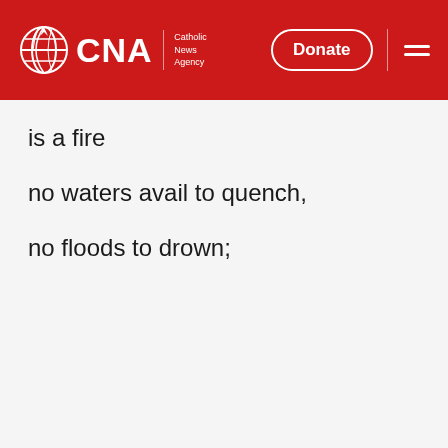CNA Catholic News Agency | Donate
is a fire
no waters avail to quench,
no floods to drown;